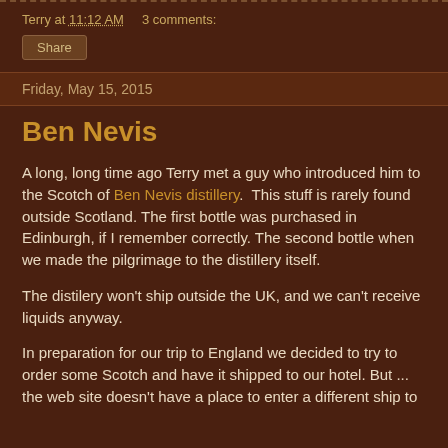Terry at 11:12 AM   3 comments:
Share
Friday, May 15, 2015
Ben Nevis
A long, long time ago Terry met a guy who introduced him to the Scotch of Ben Nevis distillery.  This stuff is rarely found outside Scotland. The first bottle was purchased in Edinburgh, if I remember correctly. The second bottle when we made the pilgrimage to the distillery itself.
The distilery won't ship outside the UK, and we can't receive liquids anyway.
In preparation for our trip to England we decided to try to order some Scotch and have it shipped to our hotel. But ... the web site doesn't have a place to enter a different ship to